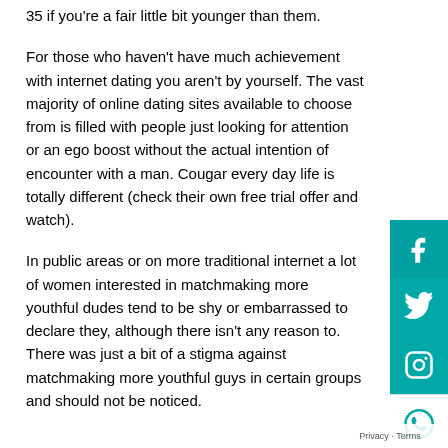35 if you're a fair little bit younger than them.
For those who haven't have much achievement with internet dating you aren't by yourself. The vast majority of online dating sites available to choose from is filled with people just looking for attention or an ego boost without the actual intention of encounter with a man. Cougar every day life is totally different (check their own free trial offer and watch).
In public areas or on more traditional internet a lot of women interested in matchmaking more youthful dudes tend to be shy or embarrassed to declare they, although there isn't any reason to. There was just a bit of a stigma against matchmaking more youthful guys in certain groups and should not be noticed.
[Figure (other): Social media share buttons: Facebook, Twitter, Instagram, WhatsApp]
Privacy · Terms